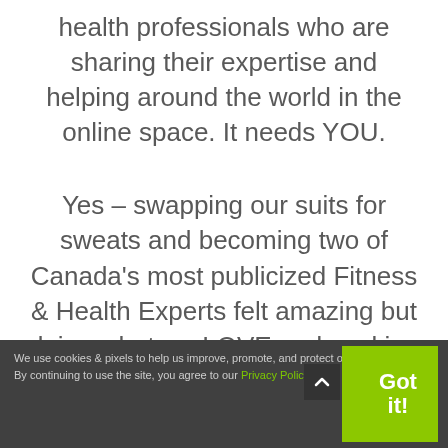health professionals who are sharing their expertise and helping around the world in the online space. It needs YOU.
Yes – swapping our suits for sweats and becoming two of Canada's most publicized Fitness & Health Experts felt amazing but doing what we LOVE and working with passionate, purpose driven
We use cookies & pixels to help us improve, promote, and protect our services. By continuing to use the site, you agree to our Privacy Policy